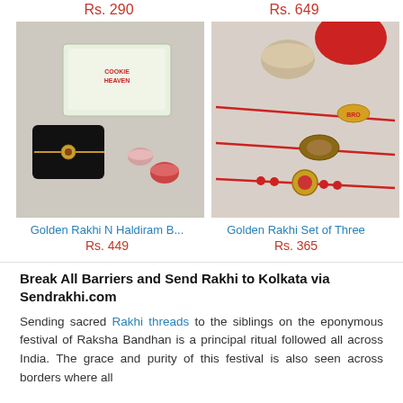Rs. 290
Rs. 649
[Figure (photo): Golden Rakhi with Haldiram Biscuit box and pooja items on white background]
[Figure (photo): Golden Rakhi Set of Three rakhi threads with red and gold decorations on white background]
Golden Rakhi N Haldiram B...
Rs. 449
Golden Rakhi Set of Three
Rs. 365
Break All Barriers and Send Rakhi to Kolkata via Sendrakhi.com
Sending sacred Rakhi threads to the siblings on the eponymous festival of Raksha Bandhan is a principal ritual followed all across India. The grace and purity of this festival is also seen across borders where all